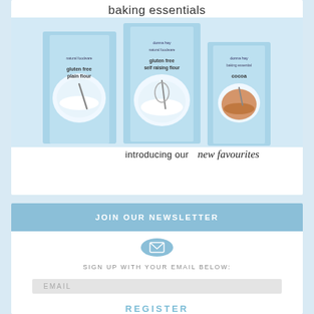[Figure (photo): Donna Hay baking essentials product boxes including gluten free plain flour, gluten free self-raising flour, and cocoa, displayed on a light blue background with the tagline 'introducing our new favourites']
baking essentials
introducing our new favourites
JOIN OUR NEWSLETTER
SIGN UP WITH YOUR EMAIL BELOW:
EMAIL
REGISTER